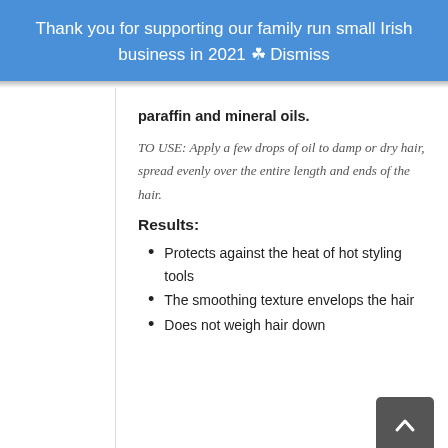Thank you for supporting our family run small Irish business in 2021 ☘ Dismiss
paraffin and mineral oils.
TO USE: Apply a few drops of oil to damp or dry hair, spread evenly over the entire length and ends of the hair.
Results:
Protects against the heat of hot styling tools
The smoothing texture envelops the hair
Does not weigh hair down